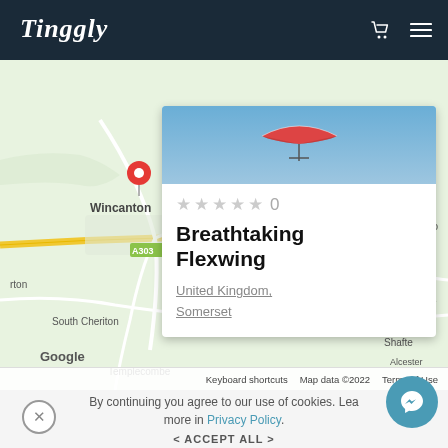Tinggly
[Figure (map): Google Maps showing area around Wincanton, Somerset, UK with a red location pin. Map shows roads including A303, places including South Cheriton, Templecombe, Henstridge, East Stour, Shaftesbury, Motcombe, West Knoyle, Alcester. Google watermark and map data 2022 attribution visible.]
★ ★ ★ ★ ★ 0
Breathtaking Flexwing
United Kingdom, Somerset
By continuing you agree to our use of cookies. Learn more in Privacy Policy.
< ACCEPT ALL >